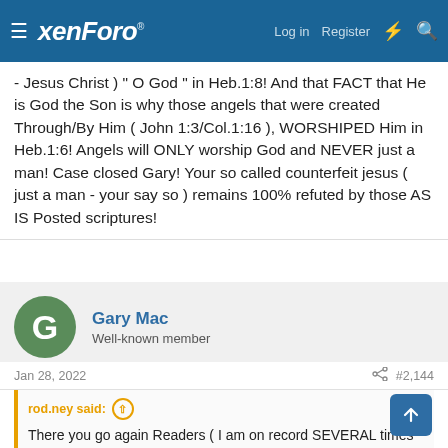xenForo — Log in | Register
- Jesus Christ ) " O God " in Heb.1:8! And that FACT that He is God the Son is why those angels that were created Through/By Him ( John 1:3/Col.1:16 ), WORSHIPED Him in Heb.1:6! Angels will ONLY worship God and NEVER just a man! Case closed Gary! Your so called counterfeit jesus ( just a man - your say so ) remains 100% refuted by those AS IS Posted scriptures!
Gary Mac
Well-known member
Jan 28, 2022  #2,144
rod.ney said:
There you go again Readers ( I am on record SEVERAL times on CARM as telling Gary that YES God the Father sent His Son to show us the way )! Gary has AGAIN gone off TRACK ( Not me ) and He still has NOT answered the Question of why he still believes the Real Jesus Christ is just a man ( Gary's say so - man's word ) when John 1:1-8 & 8:58 and Heb.1:6+8 are the AS IS posted scriptures that